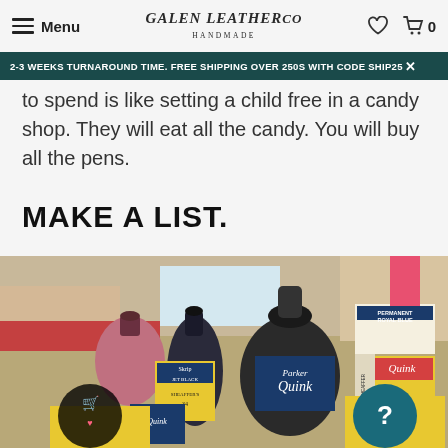Menu | Galen Leather Co. Handmade
2-3 WEEKS TURNAROUND TIME. FREE SHIPPING OVER 250S WITH CODE SHIP25
to spend is like setting a child free in a candy shop. They will eat all the candy. You will buy all the pens.
MAKE A LIST.
[Figure (photo): A pen show table covered with vintage ink bottles including Parker Quink, Sheaffer's Skrip, Midnight, and other ink brands in yellow, blue, and red packaging. People browsing in the background.]